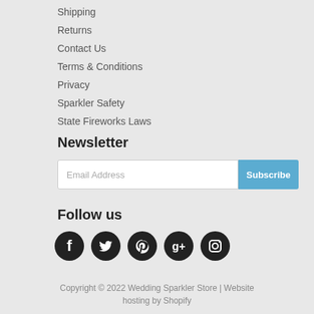Shipping
Returns
Contact Us
Terms & Conditions
Privacy
Sparkler Safety
State Fireworks Laws
Newsletter
Email Address
Subscribe
Follow us
[Figure (illustration): Social media icons: Facebook, Twitter, Pinterest, Google+, Instagram]
Copyright © 2022 Wedding Sparkler Store | Website hosting by Shopify